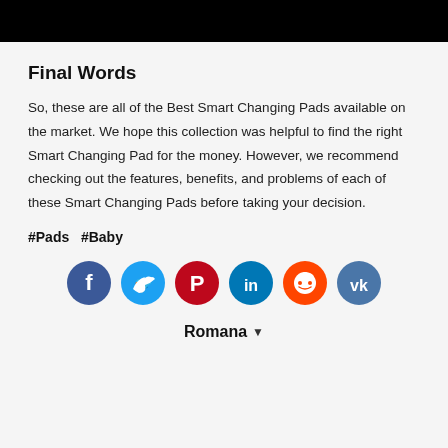[Figure (other): Black banner/header bar at the top of the page]
Final Words
So, these are all of the Best Smart Changing Pads available on the market. We hope this collection was helpful to find the right Smart Changing Pad for the money. However, we recommend checking out the features, benefits, and problems of each of these Smart Changing Pads before taking your decision.
#Pads  #Baby
[Figure (infographic): Social media share buttons: Facebook (dark blue), Twitter (light blue), Pinterest (red), LinkedIn (blue), Reddit (orange), VK (dark blue-grey)]
Romana ▾